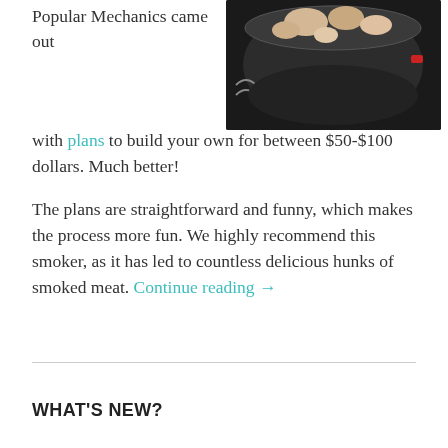Popular Mechanics came out with plans to build your own for between $50-$100 dollars. Much better!
[Figure (photo): A dark/black cylindrical smoker cooker with food visible at the top, photographed from above-angle against a dark background.]
The plans are straightforward and funny, which makes the process more fun. We highly recommend this smoker, as it has led to countless delicious hunks of smoked meat. Continue reading →
WHAT'S NEW?